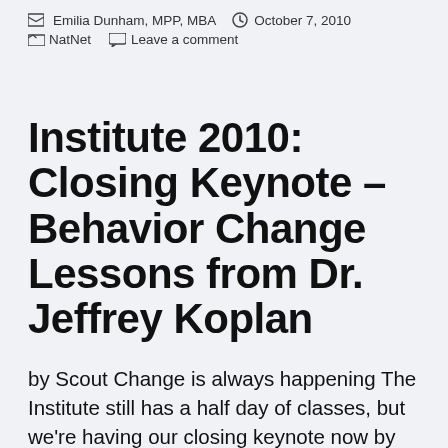Emilia Dunham, MPP, MBA   October 7, 2010
NatNet   Leave a comment
Institute 2010: Closing Keynote – Behavior Change Lessons from Dr. Jeffrey Koplan
by Scout Change is always happening The Institute still has a half day of classes, but we're having our closing keynote now by Dr. Jeffrey Koplan, former director of CDC. Dr. Koplan takes us into a time machine first, has us remember 30